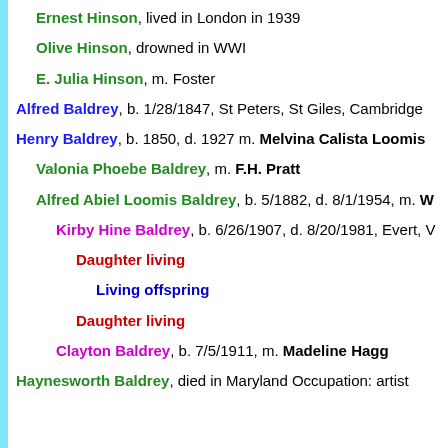Ernest Hinson, lived in London in 1939
Olive Hinson, drowned in WWI
E. Julia Hinson, m. Foster
Alfred Baldrey, b. 1/28/1847, St Peters, St Giles, Cambridge
Henry Baldrey, b. 1850, d. 1927 m. Melvina Calista Loomis
Valonia Phoebe Baldrey, m. F.H. Pratt
Alfred Abiel Loomis Baldrey, b. 5/1882, d. 8/1/1954, m. W
Kirby Hine Baldrey, b. 6/26/1907, d. 8/20/1981, Evert, V
Daughter living
Living offspring
Daughter living
Clayton Baldrey, b. 7/5/1911, m. Madeline Hagg
Haynesworth Baldrey, died in Maryland Occupation: artist